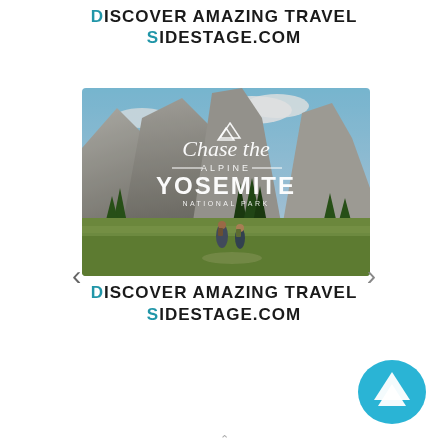DISCOVER AMAZING TRAVEL
SIDESTAGE.COM
[Figure (photo): Yosemite National Park travel photo with text overlay 'Chase the Alpine - YOSEMITE NATIONAL PARK', showing hikers in a meadow with granite cliffs in the background]
< >
DISCOVER AMAZING TRAVEL
SIDESTAGE.COM
[Figure (logo): Camo/upward chevron logo in teal/blue color]